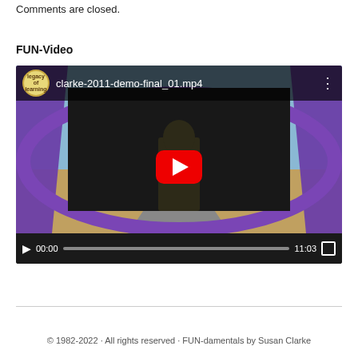Comments are closed.
FUN-Video
[Figure (screenshot): Embedded YouTube video player showing 'clarke-2011-demo-final_01.mp4' with a Legacy of Learning logo, purple decorative frame, play button overlay, and video controls showing 00:00 / 11:03]
© 1982-2022 · All rights reserved · FUN-damentals by Susan Clarke